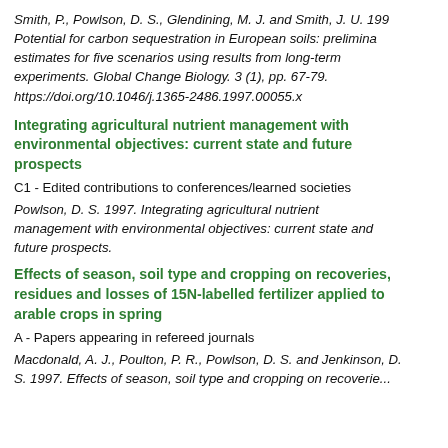Smith, P., Powlson, D. S., Glendining, M. J. and Smith, J. U. 199... Potential for carbon sequestration in European soils: preliminary estimates for five scenarios using results from long-term experiments. Global Change Biology. 3 (1), pp. 67-79. https://doi.org/10.1046/j.1365-2486.1997.00055.x
Integrating agricultural nutrient management with environmental objectives: current state and future prospects
C1 - Edited contributions to conferences/learned societies
Powlson, D. S. 1997. Integrating agricultural nutrient management with environmental objectives: current state and future prospects.
Effects of season, soil type and cropping on recoveries, residues and losses of 15N-labelled fertilizer applied to arable crops in spring
A - Papers appearing in refereed journals
Macdonald, A. J., Poulton, P. R., Powlson, D. S. and Jenkinson, D. S. 1997. Effects of season, soil type and cropping on recoveries...